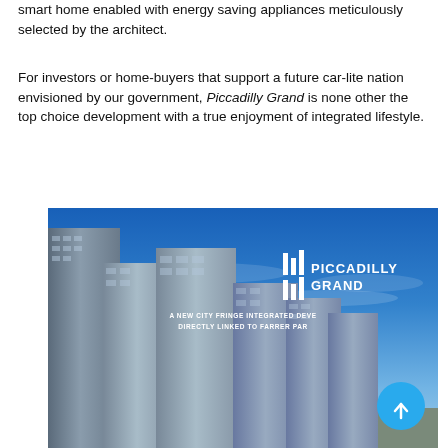smart home enabled with energy saving appliances meticulously selected by the architect.
For investors or home-buyers that support a future car-lite nation envisioned by our government, Piccadilly Grand is none other the top choice development with a true enjoyment of integrated lifestyle.
[Figure (photo): Promotional image of Piccadilly Grand residential towers against a blue sky, with the Piccadilly Grand logo and tagline 'A NEW CITY FRINGE INTEGRATED DEVELOPMENT DIRECTLY LINKED TO FARRER PARK' overlaid on the right side.]